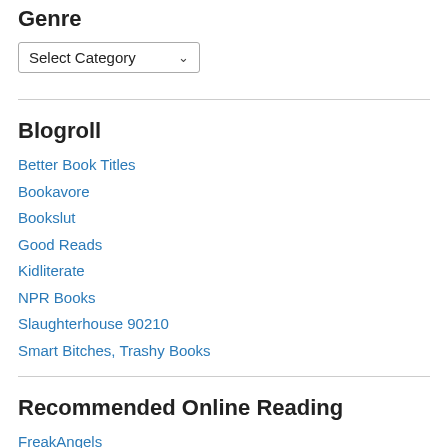Genre
Select Category
Blogroll
Better Book Titles
Bookavore
Bookslut
Good Reads
Kidliterate
NPR Books
Slaughterhouse 90210
Smart Bitches, Trashy Books
Recommended Online Reading
FreakAngels
Hobo Lobo of Hamelin